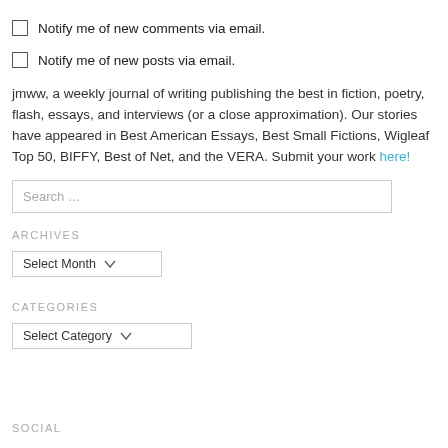Notify me of new comments via email.
Notify me of new posts via email.
jmww, a weekly journal of writing publishing the best in fiction, poetry, flash, essays, and interviews (or a close approximation). Our stories have appeared in Best American Essays, Best Small Fictions, Wigleaf Top 50, BIFFY, Best of Net, and the VERA. Submit your work here!
ARCHIVES
CATEGORIES
SOCIAL